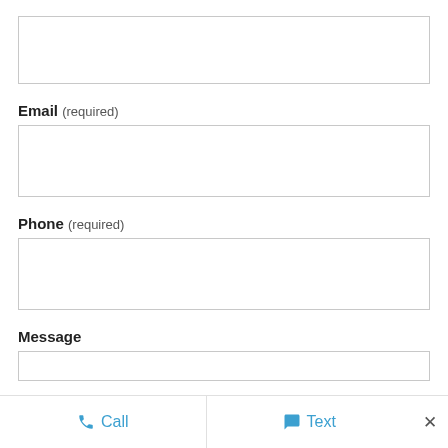[Figure (screenshot): Empty text input field (top, partially visible)]
Email (required)
[Figure (screenshot): Empty text input field for Email]
Phone (required)
[Figure (screenshot): Empty text input field for Phone]
Message
[Figure (screenshot): Empty text input field for Message (partially visible)]
Call   Text   ×